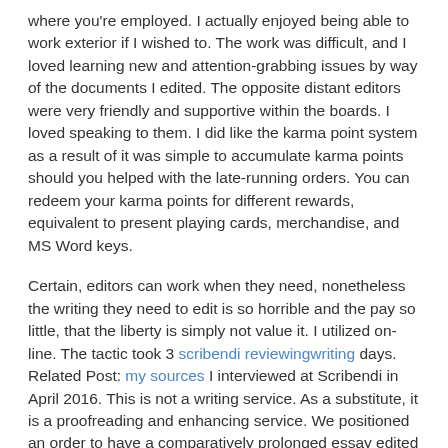where you're employed. I actually enjoyed being able to work exterior if I wished to. The work was difficult, and I loved learning new and attention-grabbing issues by way of the documents I edited. The opposite distant editors were very friendly and supportive within the boards. I loved speaking to them. I did like the karma point system as a result of it was simple to accumulate karma points should you helped with the late-running orders. You can redeem your karma points for different rewards, equivalent to present playing cards, merchandise, and MS Word keys.
Certain, editors can work when they need, nonetheless the writing they need to edit is so horrible and the pay so little, that the liberty is simply not value it. I utilized on-line. The tactic took 3 scribendi reviewingwriting days. Related Post: my sources I interviewed at Scribendi in April 2016. This is not a writing service. As a substitute, it is a proofreading and enhancing service. We positioned an order to have a comparatively prolonged essay edited and proofread.